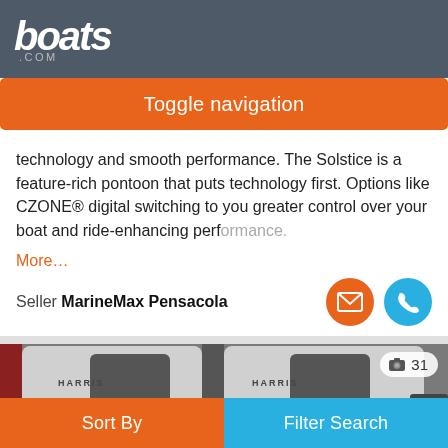boats .com
Toggle navigation
technology and smooth performance. The Solstice is a feature-rich pontoon that puts technology first. Options like CZONE® digital switching to you greater control over your boat and ride-enhancing performance.
More…
Seller MarineMax Pensacola
[Figure (photo): Interior photo of Harris pontoon boat showing two white and dark gray upholstered seats with HARRIS branding, with a photo count badge showing 31]
Sort By
Filter Search